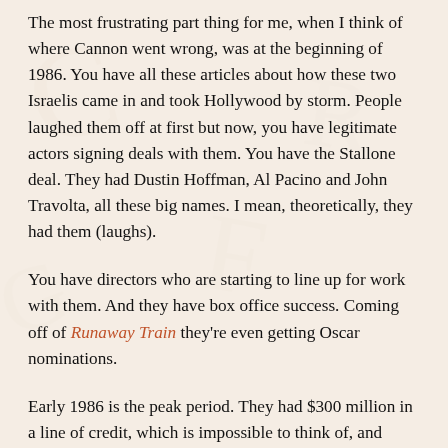The most frustrating part thing for me, when I think of where Cannon went wrong, was at the beginning of 1986. You have all these articles about how these two Israelis came in and took Hollywood by storm. People laughed them off at first but now, you have legitimate actors signing deals with them. You have the Stallone deal. They had Dustin Hoffman, Al Pacino and John Travolta, all these big names. I mean, theoretically, they had them (laughs).
You have directors who are starting to line up for work with them. And they have box office success. Coming off of Runaway Train they're even getting Oscar nominations.
Early 1986 is the peak period. They had $300 million in a line of credit, which is impossible to think of, and investors had confidence in them. They could have spent some of that $300 million to make Superman IV for the full $24 million. They could have put more into their big movies like Masters of the Universe and Over the Top.